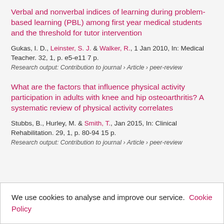Verbal and nonverbal indices of learning during problem-based learning (PBL) among first year medical students and the threshold for tutor intervention
Gukas, I. D., Leinster, S. J. & Walker, R., 1 Jan 2010, In: Medical Teacher. 32, 1, p. e5-e11 7 p.
Research output: Contribution to journal › Article › peer-review
What are the factors that influence physical activity participation in adults with knee and hip osteoarthritis? A systematic review of physical activity correlates
Stubbs, B., Hurley, M. & Smith, T., Jan 2015, In: Clinical Rehabilitation. 29, 1, p. 80-94 15 p.
Research output: Contribution to journal › Article › peer-review
We use cookies to analyse and improve our service. Cookie Policy